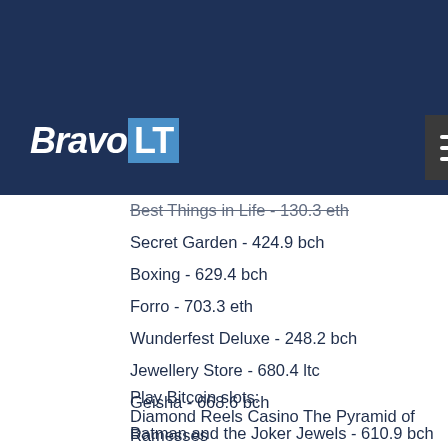BravoLT
Best Things in Life - 130.3 eth
Secret Garden - 424.9 bch
Boxing - 629.4 bch
Forro - 703.3 eth
Wunderfest Deluxe - 248.2 bch
Jewellery Store - 680.4 ltc
Geisha - 668.6 bch
Batman and the Joker Jewels - 610.9 bch
Sherwood Forest Fortunes - 579.9 btc
Legend of Qu Yuan - 14.3 btc
Best New York Food - 729.5 bch
Play Bitcoin slots:
Diamond Reels Casino The Pyramid of Ramesses